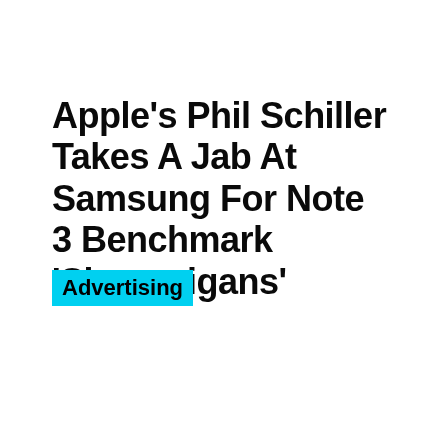Apple's Phil Schiller Takes A Jab At Samsung For Note 3 Benchmark 'Shenanigans'
Advertising